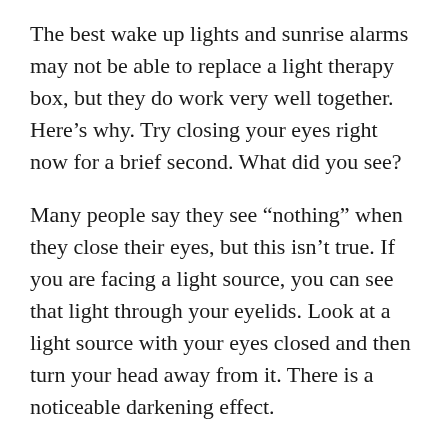The best wake up lights and sunrise alarms may not be able to replace a light therapy box, but they do work very well together. Here's why. Try closing your eyes right now for a brief second. What did you see?
Many people say they see “nothing” when they close their eyes, but this isn’t true. If you are facing a light source, you can see that light through your eyelids. Look at a light source with your eyes closed and then turn your head away from it. There is a noticeable darkening effect.
Your brain can recognize what season it happens to be based on the patterns of sunrise and sunset. With our modern world, we have different shifts that are worked and lifestyle needs that have us staying up late and getting up early. By using an artificial dawn, you can still maintain a healthy circadian rhythm, even if you sleep all